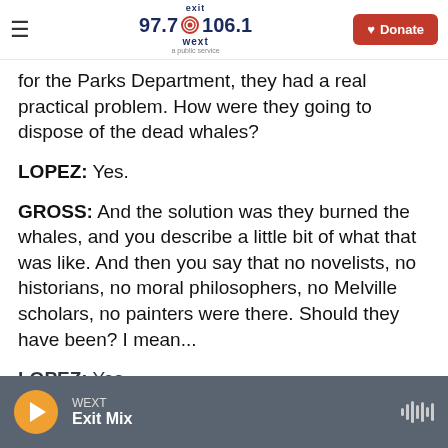exit 97.7 106.1 wext | Donate
for the Parks Department, they had a real practical problem. How were they going to dispose of the dead whales?
LOPEZ: Yes.
GROSS: And the solution was they burned the whales, and you describe a little bit of what that was like. And then you say that no novelists, no historians, no moral philosophers, no Melville scholars, no painters were there. Should they have been? I mean...
LOPEZ: Yes.
WEXT Exit Mix